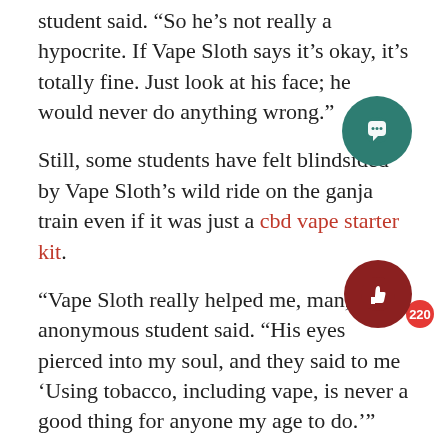student said. “So he’s not really a hypocrite. If Vape Sloth says it’s okay, it’s totally fine. Just look at his face; he would never do anything wrong.”
Still, some students have felt blindsided by Vape Sloth’s wild ride on the ganja train even if it was just a cbd vape starter kit.
“Vape Sloth really helped me, man,” one anonymous student said. “His eyes pierced into my soul, and they said to me ‘Using tobacco, including vape, is never a good thing for anyone my age to do.’”
MIHS is currently considering replacing Vape Sloth with a familiar face as the new anti-tobacco mascot. Expect to see Herbert the No-Smoking Snail on posters around the halls in the coming weeks.
Still, MIHS students are struggling to recover after Vape Sloth’s horrifying actions. Sometimes tho